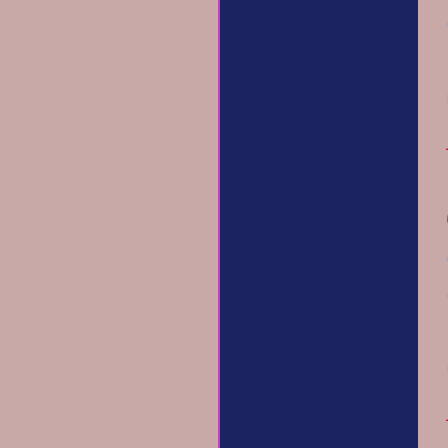406-
756-
6834
Find
Your
Caller
4067566834
406-
756-
6898
Find
Your
Caller
4067566898
406-
756-